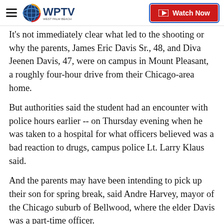WPTV | Watch Now
It's not immediately clear what led to the shooting or why the parents, James Eric Davis Sr., 48, and Diva Jeenen Davis, 47, were on campus in Mount Pleasant, a roughly four-hour drive from their Chicago-area home.
But authorities said the student had an encounter with police hours earlier -- on Thursday evening when he was taken to a hospital for what officers believed was a bad reaction to drugs, campus police Lt. Larry Klaus said.
And the parents may have been intending to pick up their son for spring break, said Andre Harvey, mayor of the Chicago suburb of Bellwood, where the elder Davis was a part-time officer.